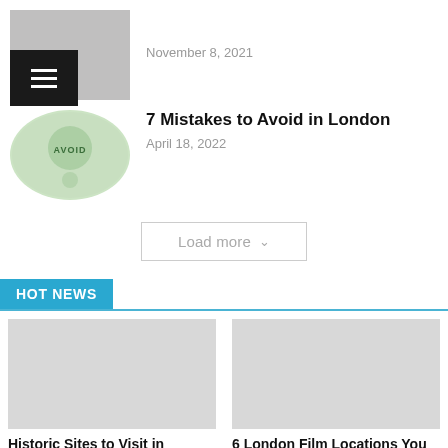November 8, 2021
[Figure (photo): Thumbnail image with hamburger menu overlay icon]
7 Mistakes to Avoid in London
April 18, 2022
[Figure (photo): Avoid illustration circular thumbnail]
Load more
HOT NEWS
[Figure (photo): Historic Sites card image]
Historic Sites to Visit in London
[Figure (photo): 6 London Film Locations card image]
6 London Film Locations You